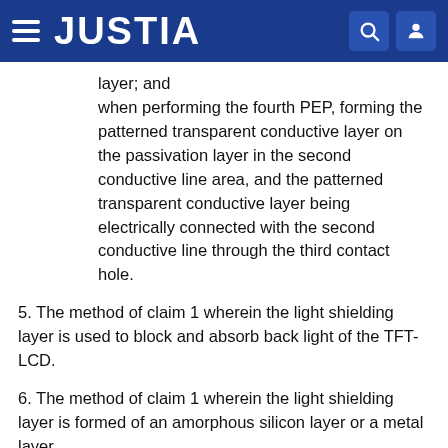JUSTIA
layer; and
when performing the fourth PEP, forming the patterned transparent conductive layer on the passivation layer in the second conductive line area, and the patterned transparent conductive layer being electrically connected with the second conductive line through the third contact hole.
5. The method of claim 1 wherein the light shielding layer is used to block and absorb back light of the TFT-LCD.
6. The method of claim 1 wherein the light shielding layer is formed of an amorphous silicon layer or a metal layer.
7. The method of claim 1 wherein the semiconductor layer is formed of an amorphous silicon layer or a poly-